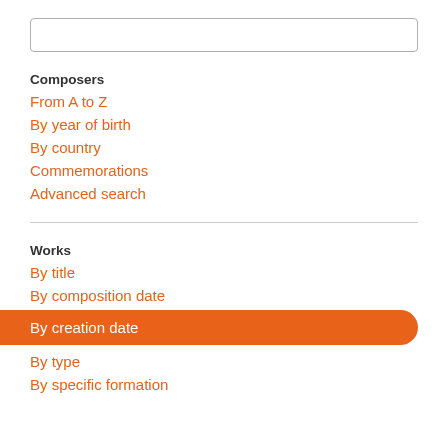[Figure (other): Search input box (empty text field with border)]
Composers
From A to Z
By year of birth
By country
Commemorations
Advanced search
Works
By title
By composition date
By creation date
By type
By specific formation